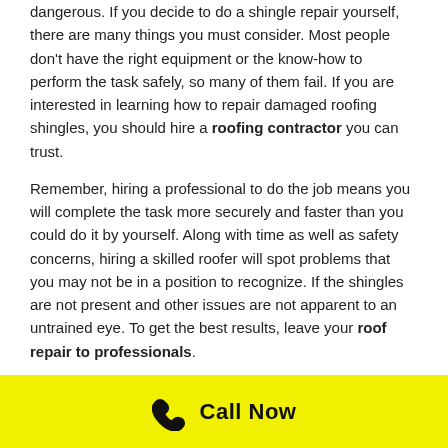dangerous. If you decide to do a shingle repair yourself, there are many things you must consider. Most people don't have the right equipment or the know-how to perform the task safely, so many of them fail. If you are interested in learning how to repair damaged roofing shingles, you should hire a roofing contractor you can trust.
Remember, hiring a professional to do the job means you will complete the task more securely and faster than you could do it by yourself. Along with time as well as safety concerns, hiring a skilled roofer will spot problems that you may not be in a position to recognize. If the shingles are not present and other issues are not apparent to an untrained eye. To get the best results, leave your roof repair to professionals.
[Figure (other): Yellow call-to-action banner with a phone icon and 'Call Now' text in bold black.]